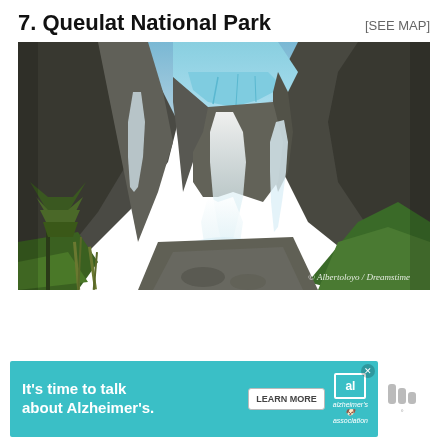7. Queulat National Park
[SEE MAP]
[Figure (photo): Photograph of Queulat National Park showing a glacier (Ventisquero Colgante) hanging glacier with waterfalls cascading down rocky mountain cliffs into a green valley below, with trees in the foreground. Watermark reads: © Albertoloyo / Dreamstime]
[Figure (other): Advertisement banner: It's time to talk about Alzheimer's. with a Learn More button and the Alzheimer's Association logo]